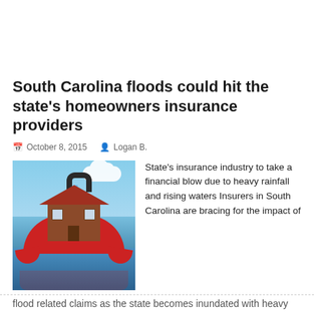South Carolina floods could hit the state's homeowners insurance providers
October 8, 2015   Logan B.
[Figure (illustration): Illustration of a house sitting on top of a large red umbrella, floating on water with a blue sky and clouds in the background, representing flood insurance concept.]
State's insurance industry to take a financial blow due to heavy rainfall and rising waters Insurers in South Carolina are bracing for the impact of
flood related claims as the state becomes inundated with heavy